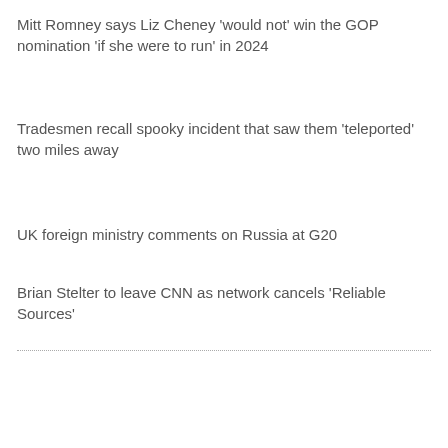Mitt Romney says Liz Cheney 'would not' win the GOP nomination 'if she were to run' in 2024
Tradesmen recall spooky incident that saw them 'teleported' two miles away
UK foreign ministry comments on Russia at G20
Brian Stelter to leave CNN as network cancels 'Reliable Sources'